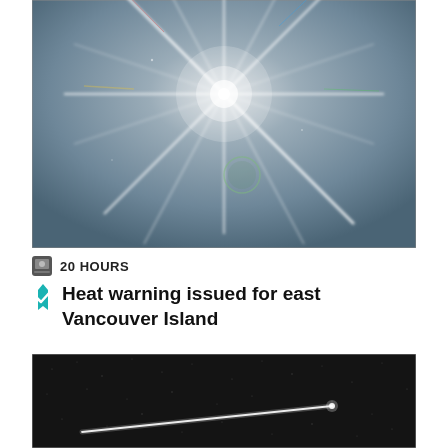[Figure (photo): Photograph of the sun against a blue-grey sky, with a starburst lens flare radiating outward in multiple directions and a circular lens flare artifact visible lower in the frame.]
20 HOURS
Heat warning issued for east Vancouver Island
[Figure (photo): Dark nighttime photograph showing a faint bright streak of light (possibly a meteor or satellite trail) crossing a dark, grainy sky.]